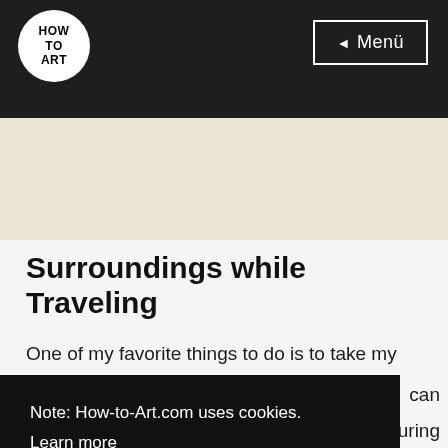HOW TO ART | Menü
[Figure (photo): Sketchbook page with handwritten German text: ARCHITEKTUR-STUDENTIN zeichnet Dächer in Melaka ab]
Surroundings while Traveling
One of my favorite things to do is to take my
Note: How-to-Art.com uses cookies.
Learn more
Got it!
our